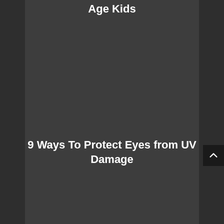Age Kids
9 Ways To Protect Eyes from UV Damage